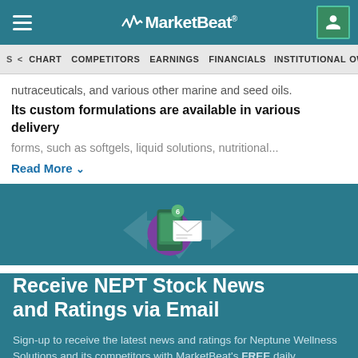MarketBeat
S  CHART  COMPETITORS  EARNINGS  FINANCIALS  INSTITUTIONAL OWNERS
nutraceuticals, and various other marine and seed oils. Its custom formulations are available in various delivery forms, such as softgels, liquid solutions, nutritional...
Read More
[Figure (illustration): Email/notification icon with smartphone and envelope graphic on teal background]
Receive NEPT Stock News and Ratings via Email
Sign-up to receive the latest news and ratings for Neptune Wellness Solutions and its competitors with MarketBeat's FREE daily newsletter.